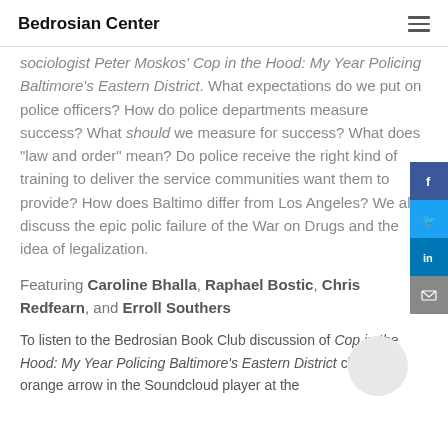Bedrosian Center
sociologist Peter Moskos' Cop in the Hood: My Year Policing Baltimore's Eastern District. What expectations do we put on police officers? How do police departments measure success? What should we measure for success? What does "law and order" mean? Do police receive the right kind of training to deliver the service communities want them to provide? How does Baltimore differ from Los Angeles? We also discuss the epic police failure of the War on Drugs and the idea of legalization.
Featuring Caroline Bhalla, Raphael Bostic, Chris Redfearn, and Erroll Southers
To listen to the Bedrosian Book Club discussion of Cop in the Hood: My Year Policing Baltimore's Eastern District click the orange arrow in the Soundcloud player at the